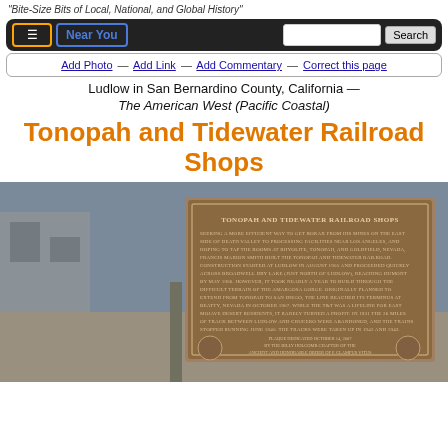"Bite-Size Bits of Local, National, and Global History"
[Figure (screenshot): Navigation bar with menu button, Near You button, search input, and Search button on dark background]
Add Photo — Add Link — Add Commentary — Correct this page
Ludlow in San Bernardino County, California — The American West (Pacific Coastal)
Tonopah and Tidewater Railroad Shops
[Figure (photo): Bronze historical marker plaque for the Tonopah and Tidewater Railroad Shops, mounted on a post. The plaque reads: TONOPAH AND TIDEWATER RAILROAD SHOPS. Text describes Francis Marion Smith building the railroad starting in August 1905, construction across Broadwell Dry Lake, reaching Dumont by May 1906, the line's terminus at Beatty Nevada in October 1907, its abandonment in 1931 with tracks taken up in 1942 and 1943. Plaque dedicated October 14, 2007 by the Billy Holcomb Chapter of the Ancient and Honorable Order of E Clampus Vitus in cooperation with the Knoll Family and the Bureau of Land Management.]